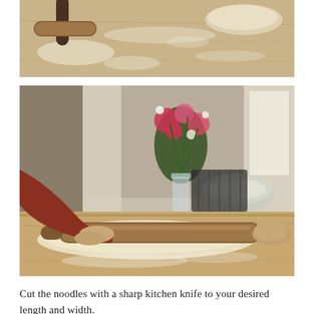[Figure (photo): Top-down view of a wooden table with a rolling pin with dark handle on the left side and a mound of dough in the upper right, with flour scattered on the surface.]
[Figure (photo): Close-up of a person in a rust-red long-sleeve shirt rolling pasta dough on a wooden table with a wooden rolling pin. Pink and white flowers in a glass vase are visible in the background along with a glass mixing bowl with flour, and a window.]
Cut the noodles with a sharp kitchen knife to your desired length and width.